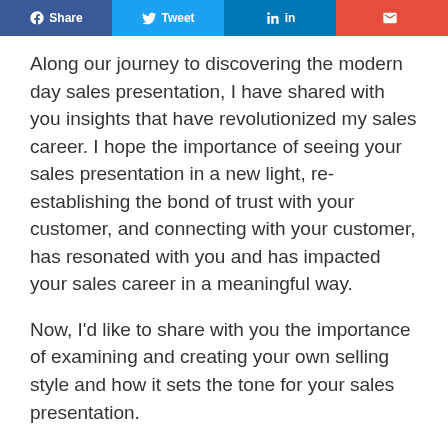[Social share buttons: Facebook, Twitter, LinkedIn, Email]
Along our journey to discovering the modern day sales presentation, I have shared with you insights that have revolutionized my sales career. I hope the importance of seeing your sales presentation in a new light, re-establishing the bond of trust with your customer, and connecting with your customer, has resonated with you and has impacted your sales career in a meaningful way.
Now, I'd like to share with you the importance of examining and creating your own selling style and how it sets the tone for your sales presentation.
In previous articles I have spoken of ways that we have missed the mark in sales training as an industry. This has led to the birth of three negative selling styles that have given us all a bad reputation.